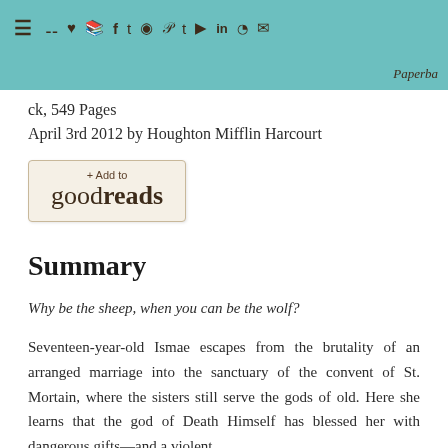≡ 🛒 ♥ 📚 f t @ P t ▶ in RSS ✉ Paperba
ck, 549 Pages
April 3rd 2012 by Houghton Mifflin Harcourt
[Figure (other): + Add to goodreads button]
Summary
Why be the sheep, when you can be the wolf?
Seventeen-year-old Ismae escapes from the brutality of an arranged marriage into the sanctuary of the convent of St. Mortain, where the sisters still serve the gods of old. Here she learns that the god of Death Himself has blessed her with dangerous gifts—and a violent